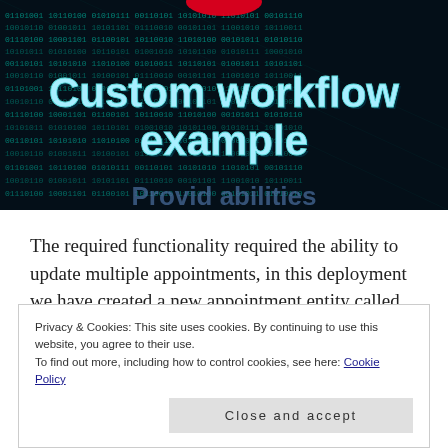[Figure (photo): Dark background with cyan/teal digital binary code matrix pattern, with overlay text reading 'Custom workflow example' in large bold cyan/white letters. A red shape partially visible at top.]
The required functionality required the ability to update multiple appointments, in this deployment we have created a new appointment entity called Client appointment but basically I needed to update multiple appointments.
Privacy & Cookies: This site uses cookies. By continuing to use this website, you agree to their use.
To find out more, including how to control cookies, see here: Cookie Policy
Close and accept